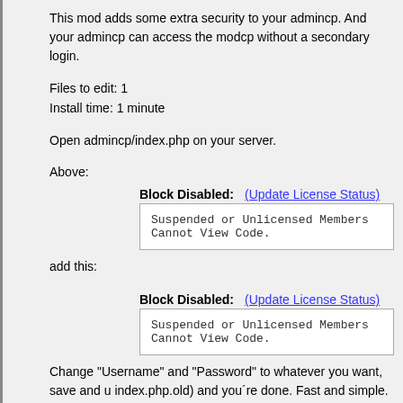This mod adds some extra security to your admincp. And your admincp can access the modcp without a secondary login.
Files to edit: 1
Install time: 1 minute
Open admincp/index.php on your server.
Above:
Block Disabled:  (Update License Status)
Suspended or Unlicensed Members Cannot View Code.
add this:
Block Disabled:  (Update License Status)
Suspended or Unlicensed Members Cannot View Code.
Change "Username" and "Password" to whatever you want, save and u index.php.old) and you´re done. Fast and simple.
If the original author is still around hit me back so you can release this o
Download Now